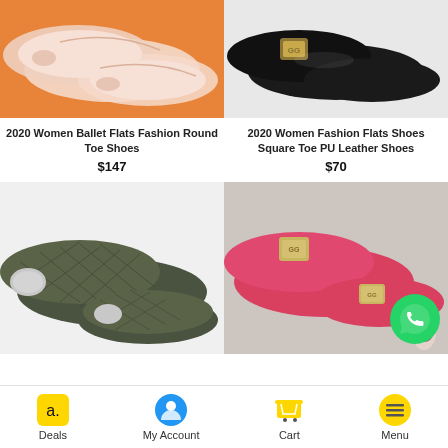[Figure (photo): Ballet flat shoes in pink/nude color on orange background]
[Figure (photo): Black patent leather fashion flats with gold buckle]
2020 Women Ballet Flats Fashion Round Toe Shoes
$147
2020 Women Fashion Flats Shoes Square Toe PU Leather Shoes
$70
[Figure (photo): Olive/green quilted loafer shoes with metal toe cap]
[Figure (photo): Pink/red flat shoes with decorative buckle, WhatsApp chat button visible]
Deals   My Account   Cart   Menu